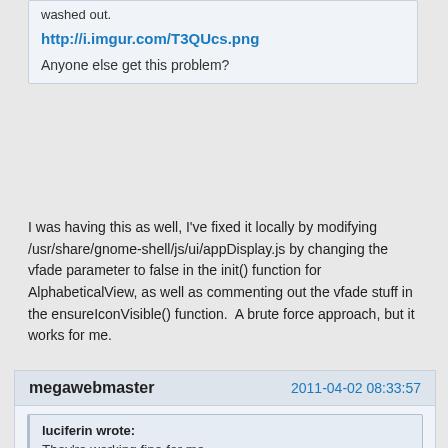washed out.
http://i.imgur.com/T3QUcs.png
Anyone else get this problem?
I was having this as well, I've fixed it locally by modifying /usr/share/gnome-shell/js/ui/appDisplay.js by changing the vfade parameter to false in the init() function for AlphabeticalView, as well as commenting out the vfade stuff in the ensureIconVisible() function.  A brute force approach, but it works for me.
megawebmaster
2011-04-02 08:33:57
luciferin wrote:
They're working fine for me...
Thats weird then... I don't know where I should start looking for problems - does anyone know?
Thanks.